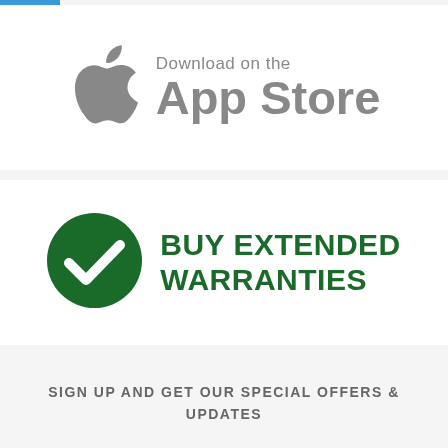[Figure (logo): Download on the App Store badge with Apple logo (grey) and text 'Download on the App Store']
[Figure (logo): Buy Extended Warranties badge with green circle checkmark icon and bold green text 'BUY EXTENDED WARRANTIES']
SIGN UP AND GET OUR SPECIAL OFFERS & UPDATES